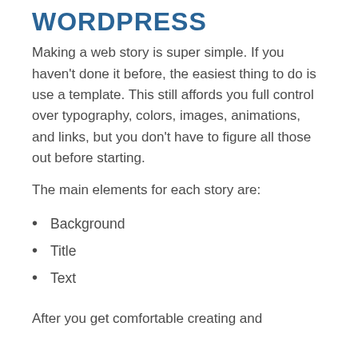WORDPRESS
Making a web story is super simple. If you haven't done it before, the easiest thing to do is use a template. This still affords you full control over typography, colors, images, animations, and links, but you don't have to figure all those out before starting.
The main elements for each story are:
Background
Title
Text
After you get comfortable creating and